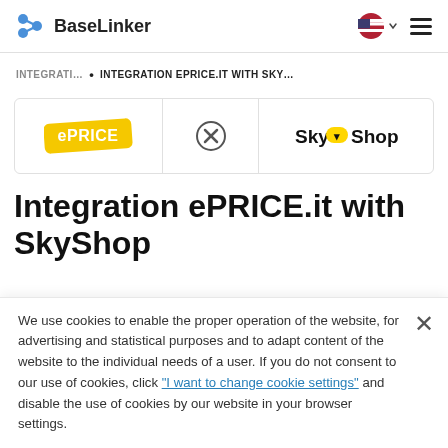BaseLinker
INTEGRATI... • INTEGRATION EPRICE.IT WITH SKY...
[Figure (logo): ePRICE logo, X symbol, SkyShop logo in a bordered strip]
Integration ePRICE.it with SkyShop
We use cookies to enable the proper operation of the website, for advertising and statistical purposes and to adapt content of the website to the individual needs of a user. If you do not consent to our use of cookies, click "I want to change cookie settings" and disable the use of cookies by our website in your browser settings.